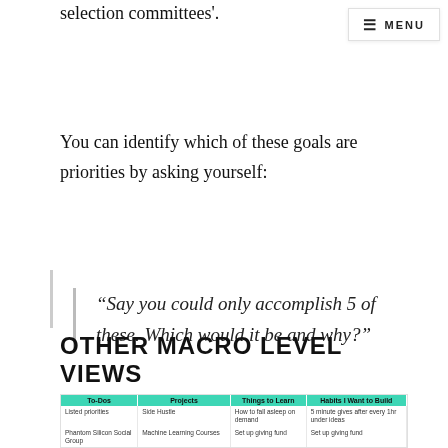compelling narrative, they'll hinder rather than aid selection committees'.
MENU
You can identify which of these goals are priorities by asking yourself:
“Say you could only accomplish 5 of these. Which would it be and why?”
OTHER MACRO LEVEL VIEWS
| To-Dos | Projects | Things to Learn | Habits I Want to Build |
| --- | --- | --- | --- |
| Listed priorities | Side Hustle | How to fall asleep on demand | 5 minute gives after every 1 hr under ideas |
| Phantom Silicon Social Group | Machine Learning Courses | Set up giving fund | Set up giving fund |
| Learn Dark you list 3 | Data Analysis / Visualization Course | Jantis Load |  |